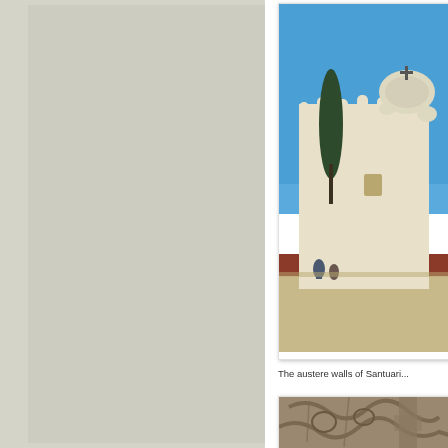[Figure (photo): Left panel showing a grey/beige textured background, partially cropped page from a travel book or guide]
[Figure (photo): Photograph of the austere white walls of a sanctuary (Santuari/Santuario) building with a dome, decorative battlements, a cypress tree, and a blue sky above. People visible at the base.]
The austere walls of Santuari...
[Figure (photo): Partial photograph showing carved stone architectural detail, decorative scrollwork or relief sculpture, partially visible at bottom right of page.]